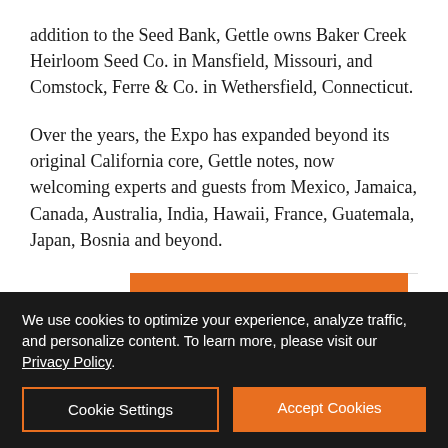addition to the Seed Bank, Gettle owns Baker Creek Heirloom Seed Co. in Mansfield, Missouri, and Comstock, Ferre & Co. in Wethersfield, Connecticut.
Over the years, the Expo has expanded beyond its original California core, Gettle notes, now welcoming experts and guests from Mexico, Jamaica, Canada, Australia, India, Hawaii, France, Guatemala, Japan, Bosnia and beyond.
[Figure (infographic): Granite Transformations advertisement banner. Left side is orange with white bold text reading 'There's a smarter way to renovate your bathroom.' Right side is white with the Granite Transformations logo — a diamond shape and the brand name with tagline 'For Kitchens & Baths'.]
We use cookies to optimize your experience, analyze traffic, and personalize content. To learn more, please visit our Privacy Policy.
Cookie Settings
Accept Cookies